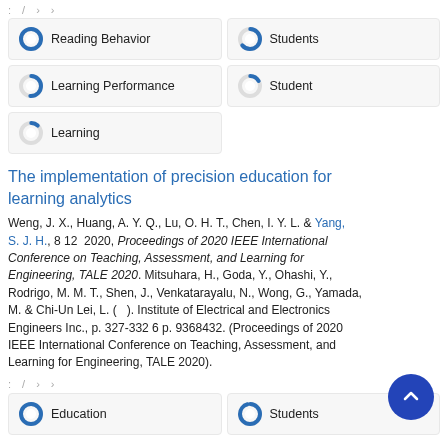Reading Behavior
Students
Learning Performance
Student
Learning
The implementation of precision education for learning analytics
Weng, J. X., Huang, A. Y. Q., Lu, O. H. T., Chen, I. Y. L. & Yang, S. J. H., 8 12  2020, Proceedings of 2020 IEEE International Conference on Teaching, Assessment, and Learning for Engineering, TALE 2020. Mitsuhara, H., Goda, Y., Ohashi, Y., Rodrigo, M. M. T., Shen, J., Venkatarayalu, N., Wong, G., Yamada, M. & Chi-Un Lei, L. (   ). Institute of Electrical and Electronics Engineers Inc., p. 327-332 6 p. 9368432. (Proceedings of 2020 IEEE International Conference on Teaching, Assessment, and Learning for Engineering, TALE 2020).
Education
Students